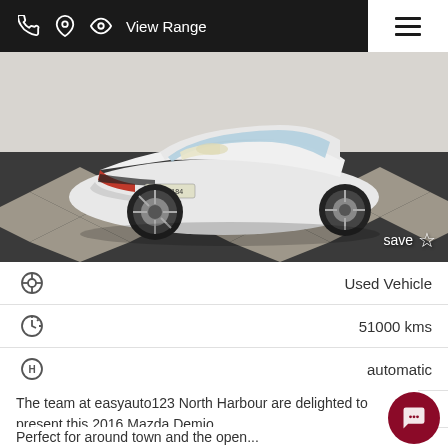View Range
[Figure (photo): White 2016 Mazda Demio hatchback parked on black and white checkered floor in showroom, front three-quarter view]
| Icon | Value |
| --- | --- |
| steering-wheel icon | Used Vehicle |
| speedometer icon | 51000 kms |
| transmission icon | automatic |
| car icon | Hatchback |
The team at easyauto123 North Harbour are delighted to present this 2016 Mazda Demio.
Perfect for around town and the open...